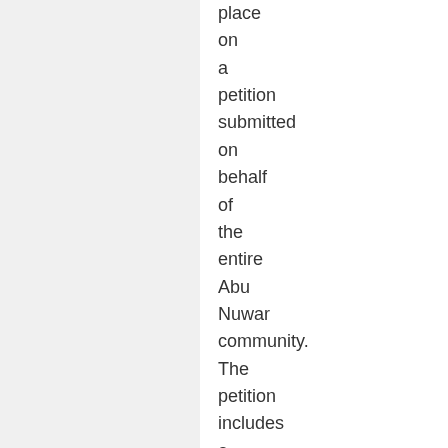place on a petition submitted on behalf of the entire Abu Nuwar community. The petition includes a community-driven plan developed by Israeli